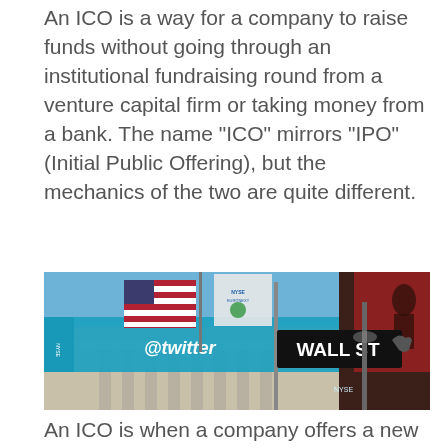An ICO is a way for a company to raise funds without going through an institutional fundraising round from a venture capital firm or taking money from a bank. The name “ICO” mirrors “IPO” (Initial Public Offering), but the mechanics of the two are quite different.
[Figure (photo): Photograph of the New York Stock Exchange building exterior with a blue Twitter banner reading '@twitter', NYSE Euronext flag, an American flag, and the Wall Street street sign in the foreground.]
An ICO is when a company offers a new cryptocurrency